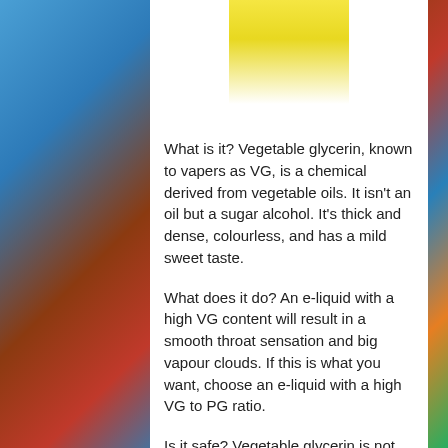[Figure (photo): Top portion of a bottle or container with yellow liquid/cap visible against white background]
What is it? Vegetable glycerin, known to vapers as VG, is a chemical derived from vegetable oils. It isn't an oil but a sugar alcohol. It's thick and dense, colourless, and has a mild sweet taste.
What does it do? An e-liquid with a high VG content will result in a smooth throat sensation and big vapour clouds. If this is what you want, choose an e-liquid with a high VG to PG ratio.
Is it safe? Vegetable glycerin is not linked to any health problem, and in fact, some food items and medicines contain this ingredient. It can also be found in toothpaste, makeup, soap, hand cream, bubble bath, and pet food, among other